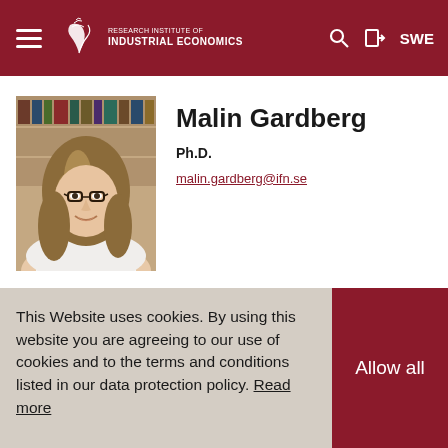Research Institute of Industrial Economics | SWE
[Figure (photo): Profile photo of Malin Gardberg, a woman with glasses and long brown hair, smiling, wearing a white top, with bookshelves in the background.]
Malin Gardberg
Ph.D.
malin.gardberg@ifn.se
This Website uses cookies. By using this website you are agreeing to our use of cookies and to the terms and conditions listed in our data protection policy. Read more
Allow all
Intolerance Predicts Climate Skepticism, authored with Alva Johansson and Therese Nilsson,